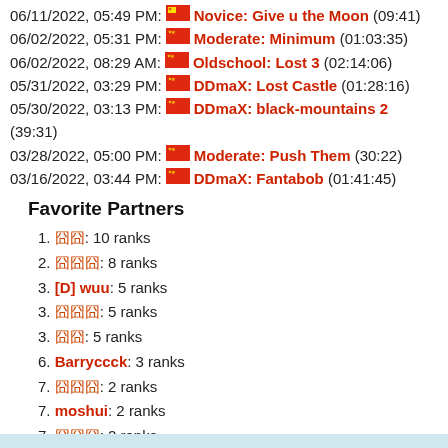06/11/2022, 05:49 PM: Novice: Give u the Moon (09:41)
06/02/2022, 05:31 PM: Moderate: Minimum (01:03:35)
06/02/2022, 08:29 AM: Oldschool: Lost 3 (02:14:06)
05/31/2022, 03:29 PM: DDmaX: Lost Castle (01:28:16)
05/30/2022, 03:13 PM: DDmaX: black-mountains 2 (39:31)
03/28/2022, 05:00 PM: Moderate: Push Them (30:22)
03/16/2022, 03:44 PM: DDmaX: Fantabob (01:41:45)
Favorite Partners
1. 🏳: 10 ranks
2. 🏳🏳🏳: 8 ranks
3. [D] wuu: 5 ranks
3. 🏳🏳🏳: 5 ranks
3. 🏳🏳: 5 ranks
6. Barryccck: 3 ranks
7. 🏳🏳🏳: 2 ranks
7. moshui: 2 ranks
7. 🏳🏳🏳: 2 ranks
10. Over: 1 ranks